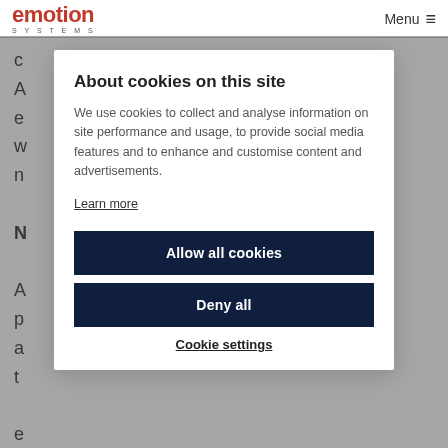emotion SYSTEMS  Menu
and everything can adjust and can deal with it. Now, what this also means is that because the creative audio guys and
About cookies on this site
We use cookies to collect and analyse information on site performance and usage, to provide social media features and to enhance and customise content and advertisements.
Learn more
Allow all cookies
Deny all
Cookie settings